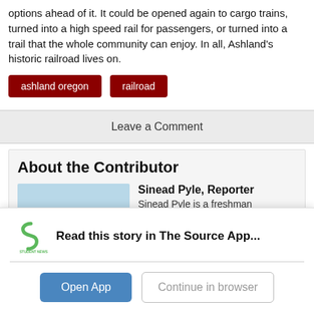options ahead of it. It could be opened again to cargo trains, turned into a high speed rail for passengers, or turned into a trail that the whole community can enjoy. In all, Ashland's historic railroad lives on.
ashland oregon
railroad
Leave a Comment
About the Contributor
Sinead Pyle, Reporter
Sinead Pyle is a freshman
Read this story in The Source App...
Open App
Continue in browser